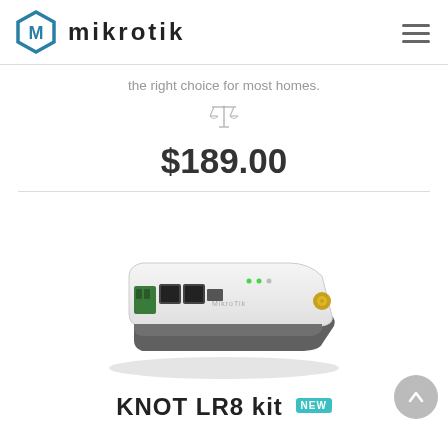[Figure (logo): MikroTik logo with hexagonal icon and brand name in lowercase bold letters]
the right choice for most homes.
[Figure (other): Scales/balance icon (compare icon) in gray]
$189.00
[Figure (photo): MikroTik KNOT LR8 kit device photo — small white and gray router/gateway with ethernet ports, USB, and a gold antenna connector]
[Figure (other): Scroll-to-top circular button with upward arrow]
KNOT LR8 kit NEW